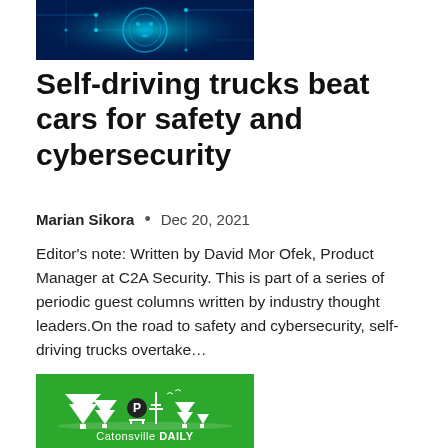[Figure (illustration): Cybersecurity themed banner image with blue circuit board and digital elements on dark blue background]
Self-driving trucks beat cars for safety and cybersecurity
Marian Sikora  •  Dec 20, 2021
Editor's note: Written by David Mor Ofek, Product Manager at C2A Security. This is part of a series of periodic guest columns written by industry thought leaders.On the road to safety and cybersecurity, self-driving trucks overtake…
[Figure (logo): Catonsville DAILY logo — white silhouette of trees and park scene on green background with 'Catonsville DAILY' text]